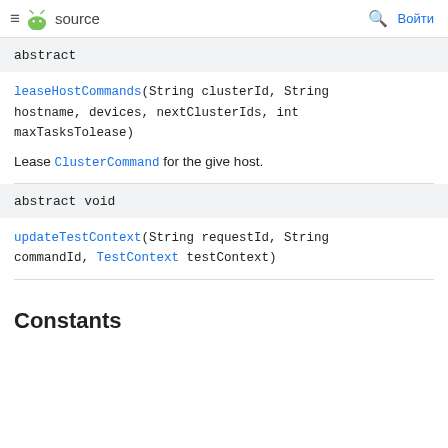≡ android source  🔍 Войти
abstract
leaseHostCommands(String clusterId, String hostname, devices, nextClusterIds, int maxTasksTolease)
Lease ClusterCommand for the give host.
abstract void
updateTestContext(String requestId, String commandId, TestContext testContext)
Constants